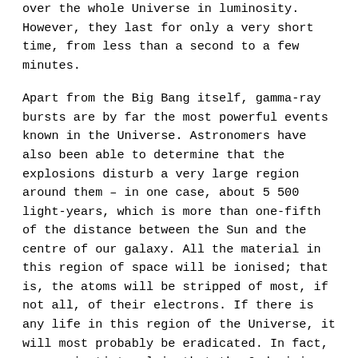over the whole Universe in luminosity. However, they last for only a very short time, from less than a second to a few minutes.
Apart from the Big Bang itself, gamma-ray bursts are by far the most powerful events known in the Universe. Astronomers have also been able to determine that the explosions disturb a very large region around them – in one case, about 5 500 light-years, which is more than one-fifth of the distance between the Sun and the centre of our galaxy. All the material in this region of space will be ionised; that is, the atoms will be stripped of most, if not all, of their electrons. If there is any life in this region of the Universe, it will most probably be eradicated. In fact, some scientists claim that the Ordovician-Silurian mass extinction, which took place approximately 450 million years ago and in which about 70% of all species on Earth were wiped out, was caused by a nearby gamma-ray burst.